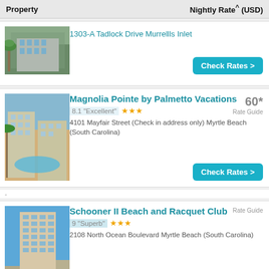Property | Nightly Rate^ (USD)
[Figure (photo): Exterior photo of property at 1303-A Tadlock Drive, palm trees and multi-story building]
1303-A Tadlock Drive Murrellls Inlet
Check Rates >
[Figure (photo): Exterior photo of Magnolia Pointe by Palmetto Vacations, showing pool area and multi-story condos with palm trees]
Magnolia Pointe by Palmetto Vacations
8.1 "Excellent" ★★★
60* Rate Guide
4101 Mayfair Street (Check in address only) Myrtle Beach (South Carolina)
Check Rates >
-
[Figure (photo): Exterior photo of Schooner II Beach and Racquet Club, tall building against blue sky]
Schooner II Beach and Racquet Club
9 "Superb" ★★★
Rate Guide
2108 North Ocean Boulevard Myrtle Beach (South Carolina)
Check Rates >